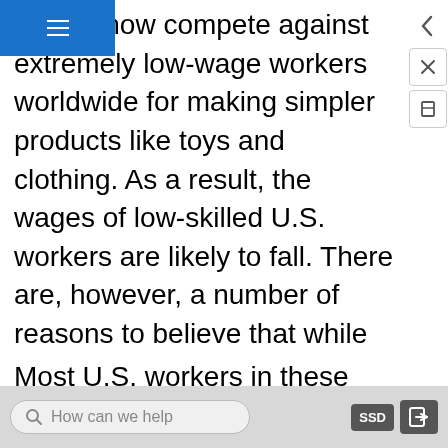s must now compete against extremely low-wage workers worldwide for making simpler products like toys and clothing. As a result, the wages of low-skilled U.S. workers are likely to fall. There are, however, a number of reasons to believe that while globalization has helped some U.S. industries and hurt others, it has not focused its negative impact on the wages of low-skilled Americans. First, about half of U.S. trade is intra-industry trade. That means the U.S. trades similar goods with other high-wage economies like Canada, Japan, Germany, and the United Kingdom. For instance, in 2014 the U.S. exported over 2 million cars, from all the major automakers, and also imported several million cars from other countries.
Most U.S. workers in these industries have above…
How can we help